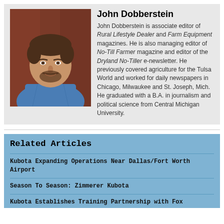[Figure (photo): Headshot photo of John Dobberstein, a middle-aged man with short brown hair and beard, wearing a blue checkered shirt, smiling, with a dark reddish-brown background.]
John Dobberstein
John Dobberstein is associate editor of Rural Lifestyle Dealer and Farm Equipment magazines. He is also managing editor of No-Till Farmer magazine and editor of the Dryland No-Tiller e-newsletter. He previously covered agriculture for the Tulsa World and worked for daily newspapers in Chicago, Milwaukee and St. Joseph, Mich. He graduated with a B.A. in journalism and political science from Central Michigan University.
Related Articles
Kubota Expanding Operations Near Dallas/Fort Worth Airport
Season To Season: Zimmerer Kubota
Kubota Establishes Training Partnership with Fox